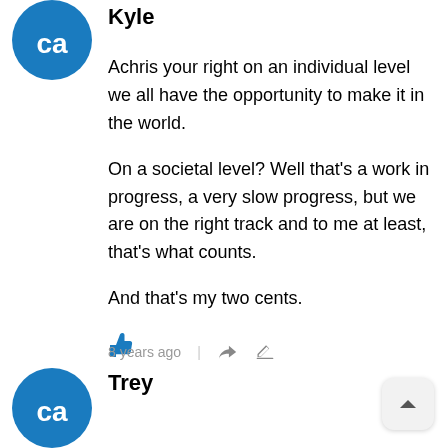[Figure (logo): CA (CoinAlerts or similar) circular blue logo with 'ca' text, for user Kyle]
Kyle
Achris your right on an individual level we all have the opportunity to make it in the world.

On a societal level? Well that's a work in progress, a very slow progress, but we are on the right track and to me at least, that's what counts.

And that's my two cents.
[Figure (illustration): Blue thumbs up icon (like button)]
8 years ago
[Figure (logo): CA circular blue logo with 'ca' text, for user Trey]
Trey